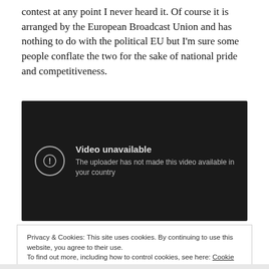contest at any point I never heard it. Of course it is arranged by the European Broadcast Union and has nothing to do with the political EU but I'm sure some people conflate the two for the sake of national pride and competitiveness.
[Figure (screenshot): A dark video player showing 'Video unavailable' message with an exclamation mark icon in a circle, and text 'The uploader has not made this video available in your country']
Privacy & Cookies: This site uses cookies. By continuing to use this website, you agree to their use.
To find out more, including how to control cookies, see here: Cookie Policy